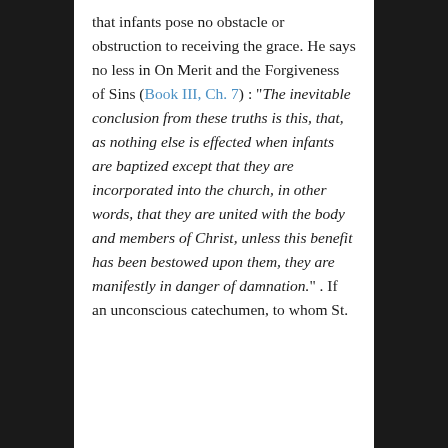that infants pose no obstacle or obstruction to receiving the grace. He says no less in On Merit and the Forgiveness of Sins (Book III, Ch. 7) : “The inevitable conclusion from these truths is this, that, as nothing else is effected when infants are baptized except that they are incorporated into the church, in other words, that they are united with the body and members of Christ, unless this benefit has been bestowed upon them, they are manifestly in danger of damnation.” . If an unconscious catechumen, to whom St.